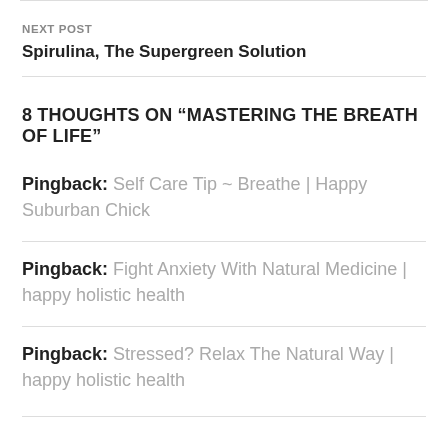NEXT POST
Spirulina, The Supergreen Solution
8 THOUGHTS ON “MASTERING THE BREATH OF LIFE”
Pingback: Self Care Tip ~ Breathe | Happy Suburban Chick
Pingback: Fight Anxiety With Natural Medicine | happy holistic health
Pingback: Stressed? Relax The Natural Way | happy holistic health